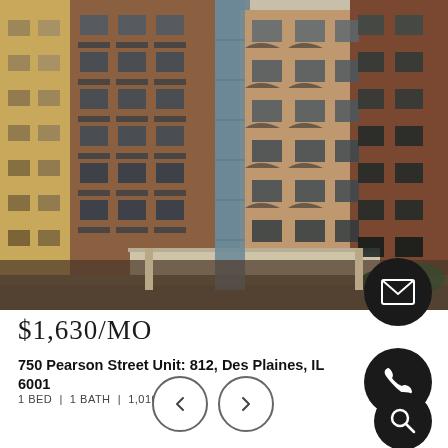[Figure (photo): Exterior photo of a multi-story brick apartment building at 750 Pearson Street, Des Plaines, IL. The building has multiple floors with balconies and large windows. A canopy entrance is visible at the ground level.]
$1,630/MO
750 Pearson Street Unit: 812, Des Plaines, IL 6001...
1 BED | 1 BATH | 1,010 SQ.FT.